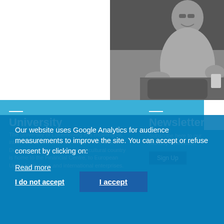[Figure (photo): Grayscale photograph of a person sitting at a table, smiling, with a basket and phone visible]
Our website uses Google Analytics for audience measurements to improve the site. You can accept or refuse consent by clicking on:
Read more
I do not accept
I accept
University
The University of Luxembourg is a multilingual, international research university in the Grand Duchy of Luxembourg. The multicultural country is home to the Financial Centre, to European Union Institutions and international enterprises.
Newsletter
Subscribe here to our monthly newsletter.
Sign Up